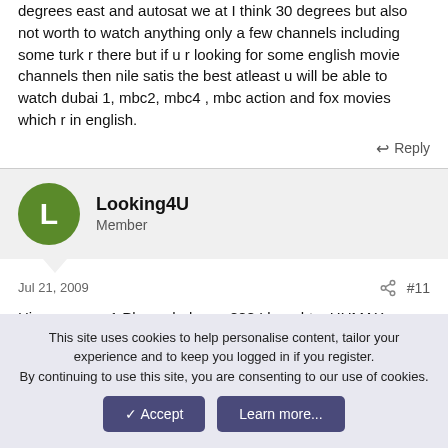degrees east and autosat we at I think 30 degrees but also not worth to watch anything only a few channels including some turk r there but if u r looking for some english movie channels then nile satis the best atleast u will be able to watch dubai 1, mbc2, mbc4 , mbc action and fox movies which r in english.
↩ Reply
Looking4U
Member
Jul 21, 2009  #11
Hi, can some 1 Please help me ??? I bought a HUMAX reciever and When I connected the cable I get Hotbird, Nilesat and badr sat. Its the buildings policy I guess.. But the problem is I cant seem to see any movies on HOTBIRD!
This site uses cookies to help personalise content, tailor your experience and to keep you logged in if you register.
By continuing to use this site, you are consenting to our use of cookies.